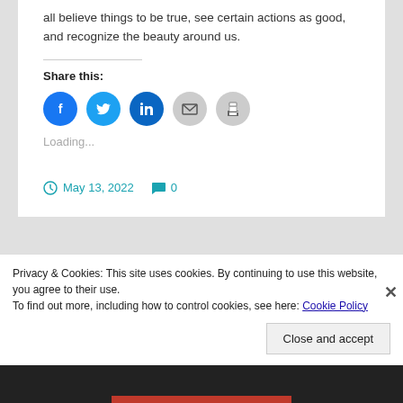all believe things to be true, see certain actions as good, and recognize the beauty around us.
Share this:
[Figure (infographic): Row of five social share icon buttons: Facebook (blue), Twitter (blue), LinkedIn (dark blue), Email (grey), Print (grey)]
Loading...
May 13, 2022   0
Privacy & Cookies: This site uses cookies. By continuing to use this website, you agree to their use.
To find out more, including how to control cookies, see here: Cookie Policy
Close and accept